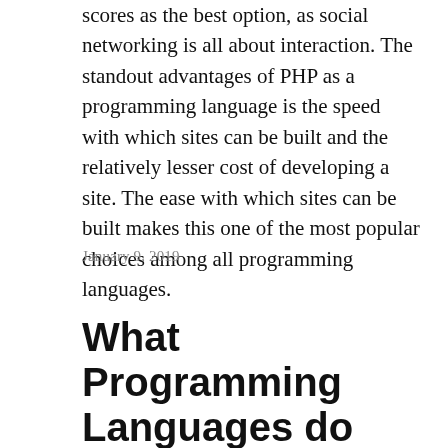scores as the best option, as social networking is all about interaction. The standout advantages of PHP as a programming language is the speed with which sites can be built and the relatively lesser cost of developing a site. The ease with which sites can be built makes this one of the most popular choices among all programming languages.
January 9, 2019
What Programming Languages do Dating Sites and Apps Typically